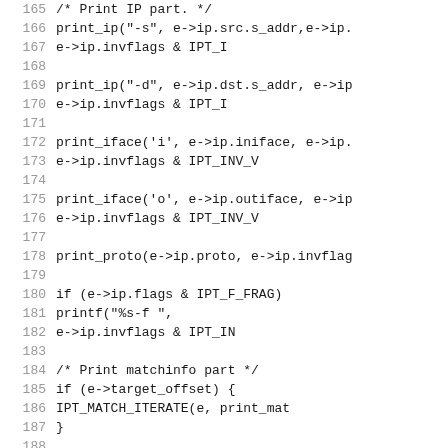[Figure (screenshot): Source code listing showing C code lines 165-194 with line numbers on the left and code on the right. The code handles printing of IP packet information including source/destination addresses, interfaces, protocol, fragment flags, match info, and target name.]